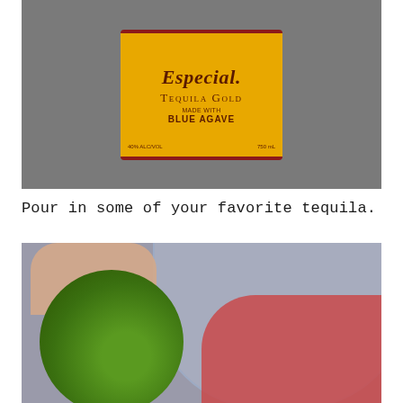[Figure (photo): Close-up photo of a Jose Cuervo Especial Tequila Gold bottle label against a grey background. The yellow label reads 'Especial. Tequila Gold Made with Blue Agave' with '40% ALC/VOL' and '750 mL' at the bottom.]
Pour in some of your favorite tequila.
[Figure (photo): Photo of a hand squeezing a lime into a blender or large glass bowl containing strawberries and ice.]